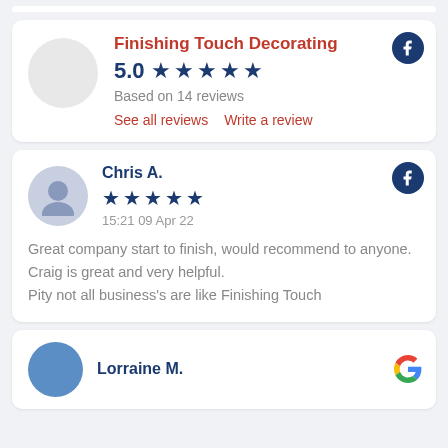Finishing Touch Decorating
5.0 ★★★★★
Based on 14 reviews
See all reviews   Write a review
Chris A.
★★★★★
15:21 09 Apr 22
Great company start to finish, would recommend to anyone.
Craig is great and very helpful.
Pity not all business's are like Finishing Touch
Lorraine M.